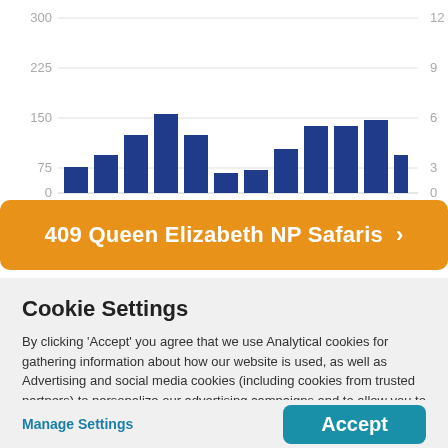[Figure (bar-chart): Queen Elizabeth NP Safaris monthly chart]
409 Queen Elizabeth NP Safaris ›
Cookie Settings
By clicking 'Accept' you agree that we use Analytical cookies for gathering information about how our website is used, as well as Advertising and social media cookies (including cookies from trusted partners) to personalize our advertising campaigns and to allow you to share on social media. About our use of cookies
Manage Settings
Accept